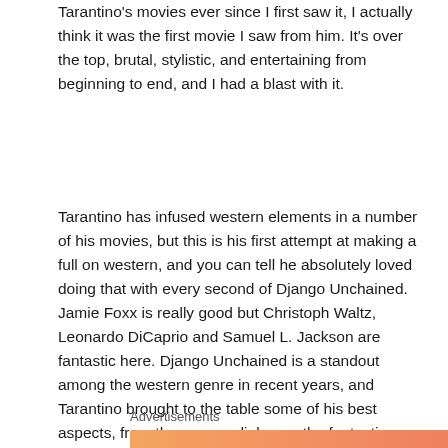Tarantino's movies ever since I first saw it, I actually think it was the first movie I saw from him. It's over the top, brutal, stylistic, and entertaining from beginning to end, and I had a blast with it.
Tarantino has infused western elements in a number of his movies, but this is his first attempt at making a full on western, and you can tell he absolutely loved doing that with every second of Django Unchained. Jamie Foxx is really good but Christoph Waltz, Leonardo DiCaprio and Samuel L. Jackson are fantastic here. Django Unchained is a standout among the western genre in recent years, and Tarantino brought to the table some of his best aspects, from the snappy dialogue, the fantastic writing, and the deliberately larger than life and stylish direction. Granted it's been a little while since I've seen it last, but from the past few times I saw it, I loved it.
Advertisements